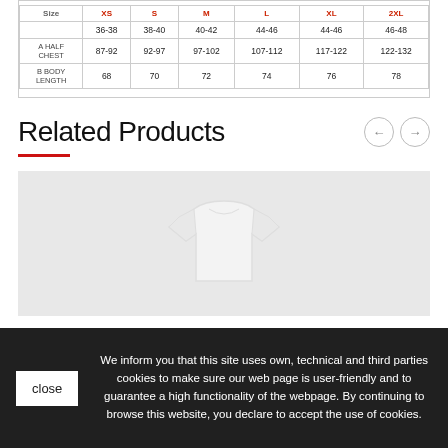| Size | XS | S | M | L | XL | 2XL |
| --- | --- | --- | --- | --- | --- | --- |
|  | 36-38 | 38-40 | 40-42 | 44-46 | 44-46 | 46-48 |
| A HALF CHEST | 87-92 | 92-97 | 97-102 | 107-112 | 117-122 | 122-132 |
| B BODY LENGTH | 68 | 70 | 72 | 74 | 76 | 78 |
Related Products
[Figure (photo): White t-shirt product photo on light grey background]
We inform you that this site uses own, technical and third parties cookies to make sure our web page is user-friendly and to guarantee a high functionality of the webpage. By continuing to browse this website, you declare to accept the use of cookies.